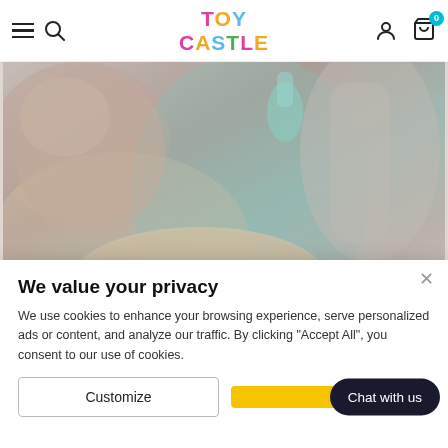TOY CASTLE
[Figure (photo): Close-up photo of toys and play items with muted earthy and teal tones, partially visible items including what appears to be stuffed animals and a round plate or bowl.]
We value your privacy
We use cookies to enhance your browsing experience, serve personalized ads or content, and analyze our traffic. By clicking "Accept All", you consent to our use of cookies.
Customize
Chat with us